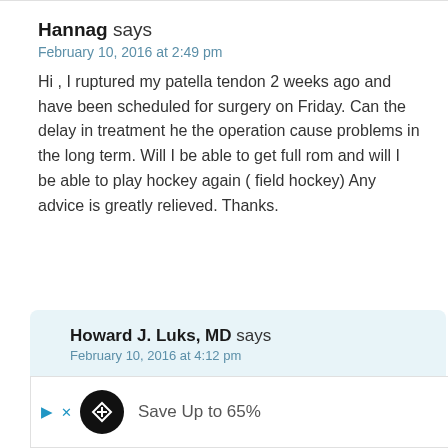Hannag says
February 10, 2016 at 2:49 pm
Hi , I ruptured my patella tendon 2 weeks ago and have been scheduled for surgery on Friday. Can the delay in treatment he the operation cause problems in the long term. Will I be able to get full rom and will I be able to play hockey again ( field hockey) Any advice is greatly relieved. Thanks.
Howard J. Luks, MD says
February 10, 2016 at 4:12 pm
Is shouldn't theoretically have an effect.
Good Luck
[Figure (other): Advertisement bar showing a black circular icon, 'Save Up to 65%' text, a blue diamond navigation icon, and a logo.]